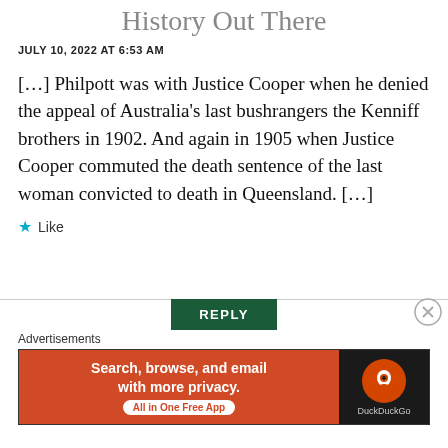History Out There
JULY 10, 2022 AT 6:53 AM
[…] Philpott was with Justice Cooper when he denied the appeal of Australia's last bushrangers the Kenniff brothers in 1902. And again in 1905 when Justice Cooper commuted the death sentence of the last woman convicted to death in Queensland. […]
★ Like
REPLY
Advertisements
[Figure (other): DuckDuckGo advertisement banner: 'Search, browse, and email with more privacy. All in One Free App' with DuckDuckGo logo on dark background.]